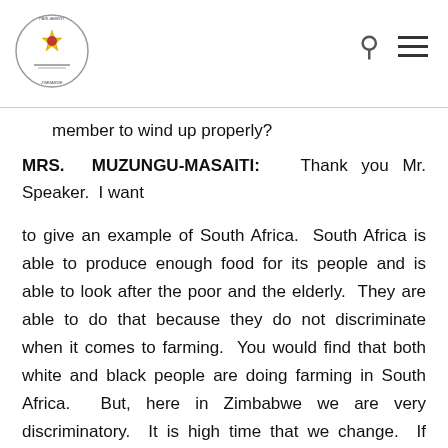Parliament of Zimbabwe header with logo, search icon, and menu icon
member to wind up properly?
MRS. MUZUNGU-MASAITI: Thank you Mr. Speaker. I want
to give an example of South Africa. South Africa is able to produce enough food for its people and is able to look after the poor and the elderly. They are able to do that because they do not discriminate when it comes to farming. You would find that both white and black people are doing farming in South Africa. But, here in Zimbabwe we are very discriminatory. It is high time that we change. If someone is white, it does not mean that person should not be accorded the right to do farming. What was wrong was that only a few Zimbabweans were